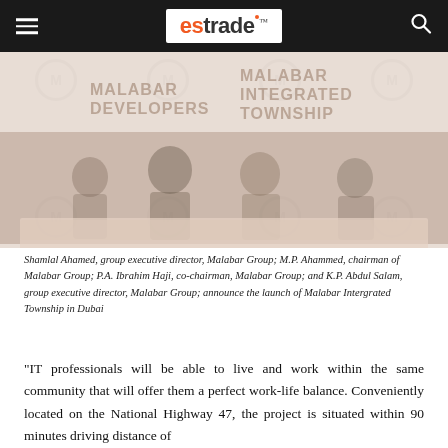estrade
[Figure (photo): Group photo of Malabar Group executives at a press conference table, with Malabar Developers and Malabar Integrated Township banners in the background. Watermark logos of the Malabar group visible.]
Shamlal Ahamed, group executive director, Malabar Group; M.P. Ahammed, chairman of Malabar Group; P.A. Ibrahim Haji, co-chairman, Malabar Group; and K.P. Abdul Salam, group executive director, Malabar Group; announce the launch of Malabar Intergrated Township in Dubai
“IT professionals will be able to live and work within the same community that will offer them a perfect work-life balance. Conveniently located on the National Highway 47, the project is situated within 90 minutes driving distance of